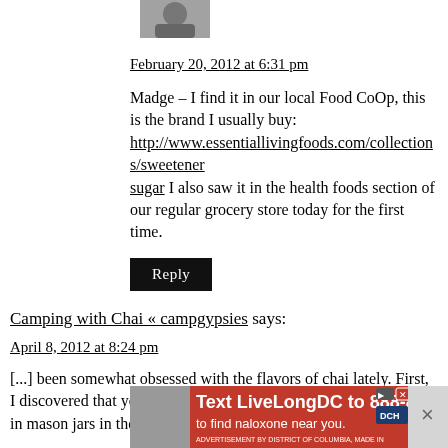[Figure (photo): Small avatar/profile photo thumbnail at top]
February 20, 2012 at 6:31 pm
Madge – I find it in our local Food CoOp, this is the brand I usually buy: http://www.essentiallivingfoods.com/collections/sweetener sugar I also saw it in the health foods section of our regular grocery store today for the first time.
Reply
Camping with Chai « campgypsies says:
April 8, 2012 at 8:24 pm
[...] been somewhat obsessed with the flavors of chai lately. First, I discovered that you can premake a Chai Tea Concentrate to keep in mason jars in the frig. It's delicious, but
[Figure (screenshot): Advertisement overlay: Text LiveLongDC to 888-811 to find naloxone near you.]